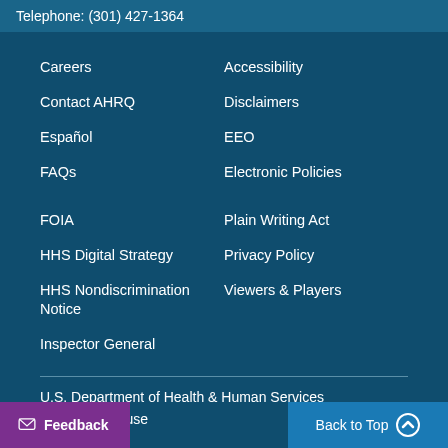Telephone: (301) 427-1364
Careers
Accessibility
Contact AHRQ
Disclaimers
Español
EEO
FAQs
Electronic Policies
FOIA
Plain Writing Act
HHS Digital Strategy
Privacy Policy
HHS Nondiscrimination Notice
Viewers & Players
Inspector General
U.S. Department of Health & Human Services
The White House
USA.gov
Feedback
Back to Top